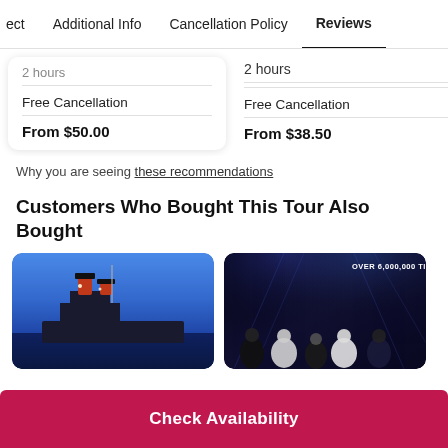ect   Additional Info   Cancellation Policy   Reviews
2 hours
Free Cancellation
From $50.00
2 hours
Free Cancellation
From $38.50
2 hours
Free Cancella...
From $45.00
Why you are seeing these recommendations
Customers Who Bought This Tour Also Bought
[Figure (photo): Photo of a large cruise ship (likely Queen Mary 2) at night with illuminated funnels against a blue evening sky]
[Figure (photo): Concert/event promotional image with group of performers on a dark stage background, text overlay reading OVER 6,000,000 TICKET]